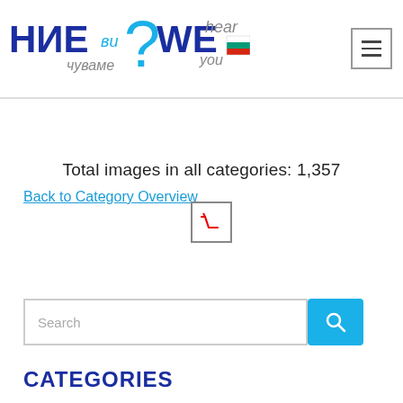[Figure (logo): НИЕви чуваме WEhear you logo with question mark and Bulgarian flag]
[Figure (other): Hamburger menu icon (three horizontal lines in a box)]
Total images in all categories: 1,357
Back to Category Overview
[Figure (other): Shopping cart icon in a square box]
[Figure (other): Search input field with blue search button]
CATEGORIES